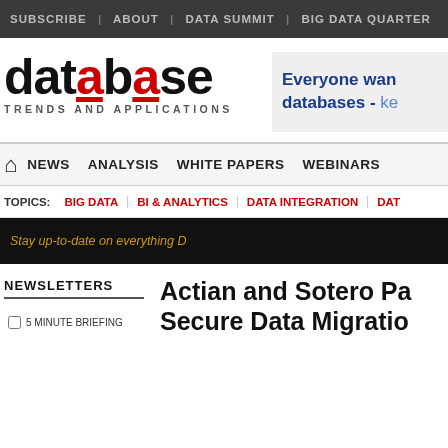SUBSCRIBE | ABOUT | DATA SUMMIT | BIG DATA QUARTER
[Figure (logo): Database Trends and Applications logo with red underline on 'database' text]
[Figure (infographic): Advertisement banner: Everyone wants databases - ke...]
NEWS | ANALYSIS | WHITE PAPERS | WEBINARS
TOPICS: BIG DATA | BI & ANALYTICS | DATA INTEGRATION | DAT...
Stay up-to-date on everything D...
NEWSLETTERS
5 MINUTE BRIEFING
Actian and Sotero Pa... Secure Data Migratio...